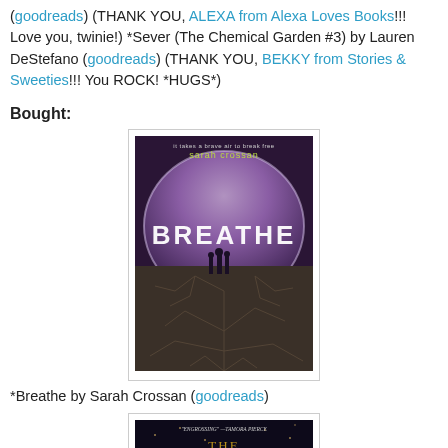(goodreads) (THANK YOU, ALEXA from Alexa Loves Books!!! Love you, twinie!) *Sever (The Chemical Garden #3) by Lauren DeStefano (goodreads) (THANK YOU, BEKKY from Stories & Sweeties!!! You ROCK! *HUGS*)
Bought:
[Figure (photo): Book cover of 'Breathe' by Sarah Crossan — shows a cracked earth landscape under a purple dome sky with silhouetted figures, title in large white letters]
*Breathe by Sarah Crossan (goodreads)
[Figure (photo): Book cover of 'The Girl of Fire and Thorns' — dark fantasy cover with ornate golden title text]